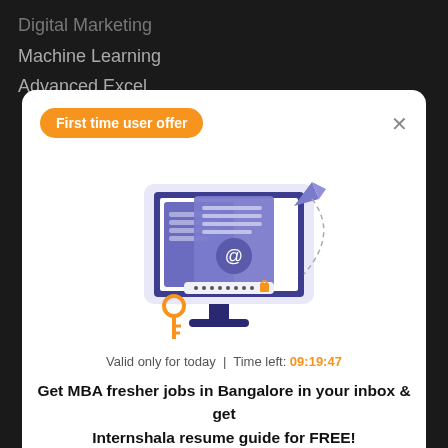Digital Marketing
Machine Learning
Advanced Excel
[Figure (screenshot): First time user offer modal popup on Internshala website showing an illustration of a computer monitor with email/login imagery, an orange key, and a paper airplane. Contains offer badge, close button, countdown timer, promotional text, and email input field.]
First time user offer
Valid only for today | Time left: 09:19:47
Get MBA fresher jobs in Bangalore in your inbox & get Internshala resume guide for FREE!
Enter your e-mail address